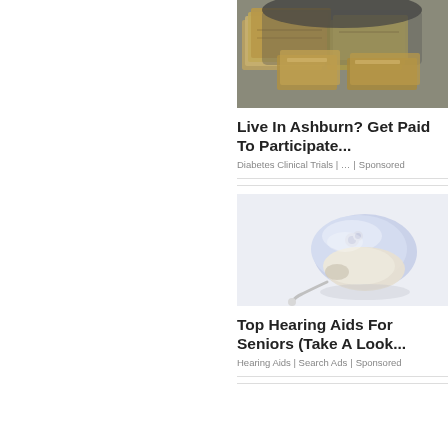[Figure (photo): Photo of stacks of US dollar bills bundled together in what appears to be a bag]
Live In Ashburn? Get Paid To Participate...
Diabetes Clinical Trials | … | Sponsored
[Figure (photo): Photo of a light blue hearing aid device against a white background]
Top Hearing Aids For Seniors (Take A Look...
Hearing Aids | Search Ads | Sponsored